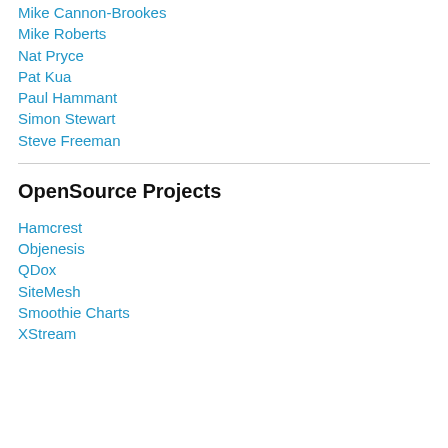Mike Cannon-Brookes
Mike Roberts
Nat Pryce
Pat Kua
Paul Hammant
Simon Stewart
Steve Freeman
OpenSource Projects
Hamcrest
Objenesis
QDox
SiteMesh
Smoothie Charts
XStream